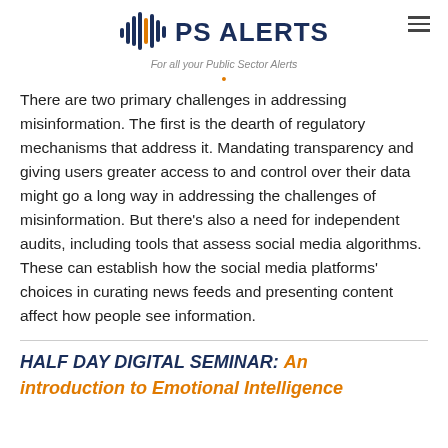PS ALERTS — For all your Public Sector Alerts
There are two primary challenges in addressing misinformation. The first is the dearth of regulatory mechanisms that address it. Mandating transparency and giving users greater access to and control over their data might go a long way in addressing the challenges of misinformation. But there's also a need for independent audits, including tools that assess social media algorithms. These can establish how the social media platforms' choices in curating news feeds and presenting content affect how people see information.
HALF DAY DIGITAL SEMINAR: An introduction to Emotional Intelligence